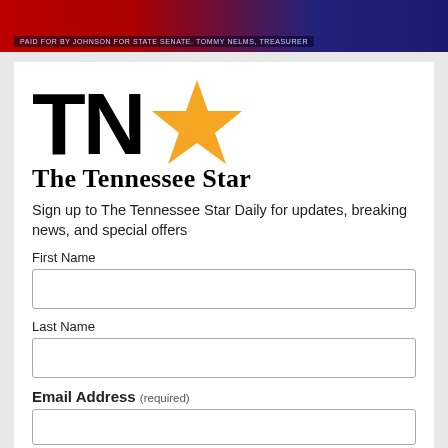[Figure (photo): Top banner with red and blue background, text reading 'PAID FOR BY JOHNSON FOR STATE SENATE. TOMMY NELMS, TREASURER']
[Figure (logo): The Tennessee Star logo: large bold 'TN' letters with an orange star, and 'The Tennessee Star' text beneath]
Sign up to The Tennessee Star Daily for updates, breaking news, and special offers
First Name
Last Name
Email Address (required)